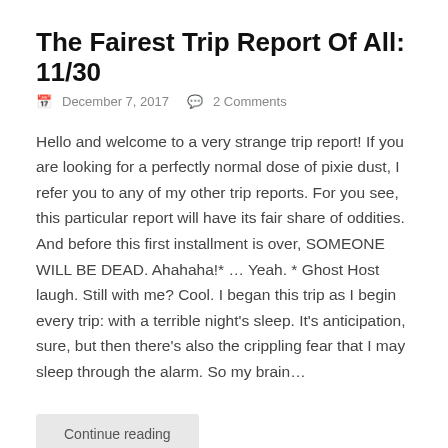The Fairest Trip Report Of All: 11/30
December 7, 2017   2 Comments
Hello and welcome to a very strange trip report! If you are looking for a perfectly normal dose of pixie dust, I refer you to any of my other trip reports. For you see, this particular report will have its fair share of oddities. And before this first installment is over, SOMEONE WILL BE DEAD. Ahahaha!* … Yeah. * Ghost Host laugh. Still with me? Cool. I began this trip as I begin every trip: with a terrible night's sleep. It's anticipation, sure, but then there's also the crippling fear that I may sleep through the alarm. So my brain…
Continue reading